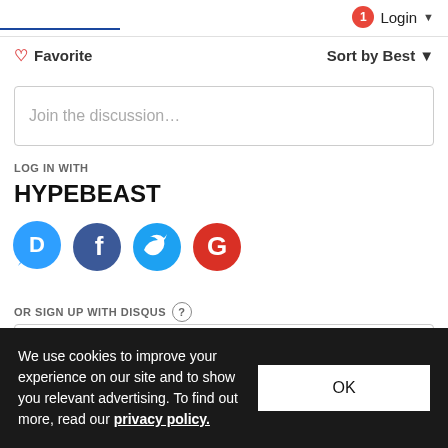Login
♡ Favorite    Sort by Best
Join the discussion…
LOG IN WITH
HYPEBEAST
[Figure (logo): Social login icons: Disqus (blue speech bubble with D), Facebook (dark blue circle with f), Twitter (light blue circle with bird), Google (red circle with G)]
OR SIGN UP WITH DISQUS ?
Name
Email
We use cookies to improve your experience on our site and to show you relevant advertising. To find out more, read our privacy policy.
OK